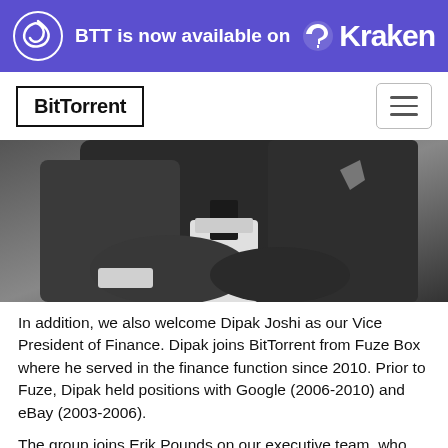BTT is now available on Kraken
[Figure (logo): BitTorrent navigation logo and hamburger menu button]
[Figure (photo): Black and white photo of a person in a suit with arms crossed]
In addition, we also welcome Dipak Joshi as our Vice President of Finance. Dipak joins BitTorrent from Fuze Box where he served in the finance function since 2010. Prior to Fuze, Dipak held positions with Google (2006-2010) and eBay (2003-2006).
The group joins Erik Pounds on our executive team, who we recently announced as Vice President of Product Management for BitTorrent Sync. Erik is responsible for overseeing the BitTorrent Sync business unit, its related